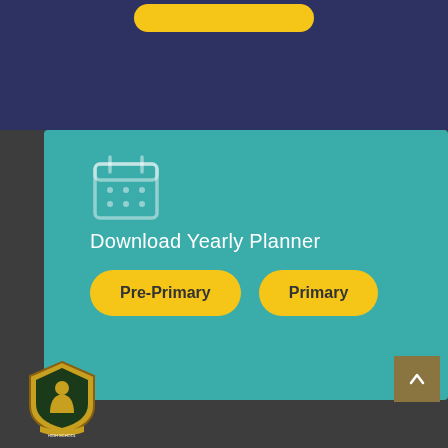[Figure (screenshot): Dark navy blue top section with a yellow pill-shaped button at top center]
[Figure (infographic): Teal section with calendar icon, Download Yearly Planner label, and two yellow buttons: Pre-Primary and Primary]
Download Yearly Planner
Pre-Primary
Primary
SHIKSHA VERITAS HIGH SCHOOL • Education • Knowledge • Truth • Beauty